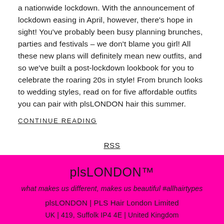a nationwide lockdown. With the announcement of lockdown easing in April, however, there's hope in sight! You've probably been busy planning brunches, parties and festivals – we don't blame you girl! All these new plans will definitely mean new outfits, and so we've built a post-lockdown lookbook for you to celebrate the roaring 20s in style! From brunch looks to wedding styles, read on for five affordable outfits you can pair with plsLONDON hair this summer.
CONTINUE READING
RSS
plsLONDON™
what makes us different, makes us beautiful #allhairtypes
plsLONDON | PLS Hair London Limited
UK | 419, Suffolk IP4 4E | United Kingdom